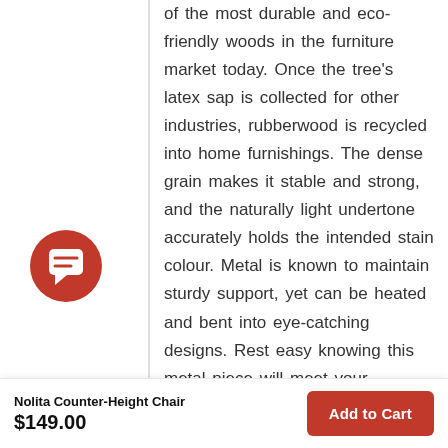of the most durable and eco-friendly woods in the furniture market today. Once the tree's latex sap is collected for other industries, rubberwood is recycled into home furnishings. The dense grain makes it stable and strong, and the naturally light undertone accurately holds the intended stain colour. Metal is known to maintain sturdy support, yet can be heated and bent into eye-catching designs. Rest easy knowing this metal piece will meet your household needs.
[Figure (illustration): Red circular chat/message icon with white speech bubble graphic]
Additional Details
Nolita Counter-Height Chair
$149.00
Add to Cart